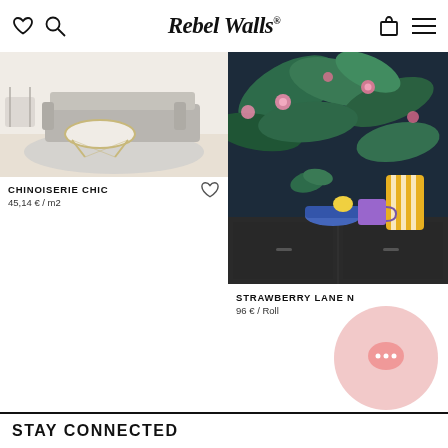Rebel Walls
[Figure (photo): Living room interior with light sofa, round marble coffee table with gold legs, light wood flooring — product photo for Chinoiserie Chic wallpaper]
CHINOISERIE CHIC
45,14 € / m2
[Figure (photo): Dark tropical floral wallpaper with pink flowers and green leaves on navy background, shown in room with dark sideboard and colorful striped vase — product photo for Strawberry Lane N]
STRAWBERRY LANE N
96 € / Roll
STAY CONNECTED